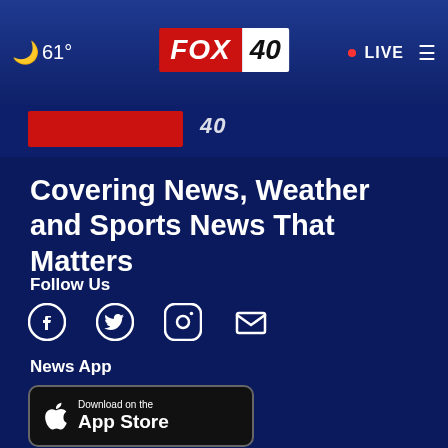61° FOX 40 • LIVE
[Figure (screenshot): FOX 40 news website header with partial logo and red banner visible below nav bar]
Covering News, Weather and Sports News That Matters
Follow Us
[Figure (infographic): Social media icons: Facebook, Twitter, Instagram, Email]
News App
[Figure (infographic): Download on the App Store button]
[Figure (infographic): GET IT ON Google Play button]